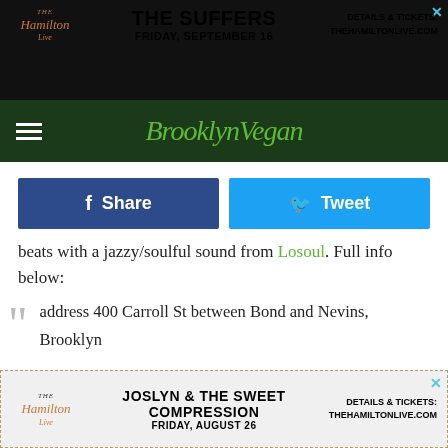[Figure (screenshot): The Hamilton Live advertisement banner: THE SUFFERS, FRIDAY, SEPTEMBER 16, DETAILS & TICKETS: THEHAMILTONLIVE.COM]
Brooklyn Vegan
[Figure (screenshot): Facebook Share button and Twitter Tweet button]
beats with a jazzy/soulful sound from Losoul. Full info below:
address 400 Carroll St between Bond and Nevins, Brooklyn

if it rains (lets hope it doesn't!) The Bell House (around the corner)

dates Every Sunday from Memorial Day Weekend to Labor Day Weekend

food Tacos, Huaraches and other Latin American
[Figure (screenshot): The Hamilton Live advertisement banner: JOSLYN & THE SWEET COMPRESSION, FRIDAY, AUGUST 26, DETAILS & TICKETS: THEHAMILTONLIVE.COM]